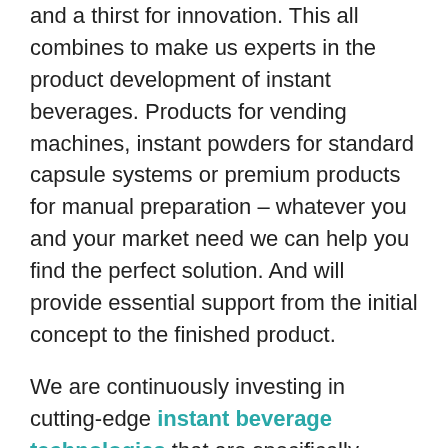and a thirst for innovation. This all combines to make us experts in the product development of instant beverages. Products for vending machines, instant powders for standard capsule systems or premium products for manual preparation – whatever you and your market need we can help you find the perfect solution. And will provide essential support from the initial concept to the finished product.
We are continuously investing in cutting-edge instant beverage technologies that are specifically designed for manufacturing instant beverages as well as in the further development and training of our staff.
We ensure we are up to date with the latest